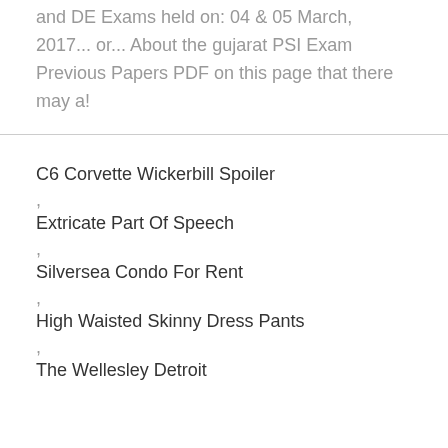and DE Exams held on: 04 & 05 March, 2017... or... About the gujarat PSI Exam Previous Papers PDF on this page that there may a!
C6 Corvette Wickerbill Spoiler
Extricate Part Of Speech
Silversea Condo For Rent
High Waisted Skinny Dress Pants
The Wellesley Detroit